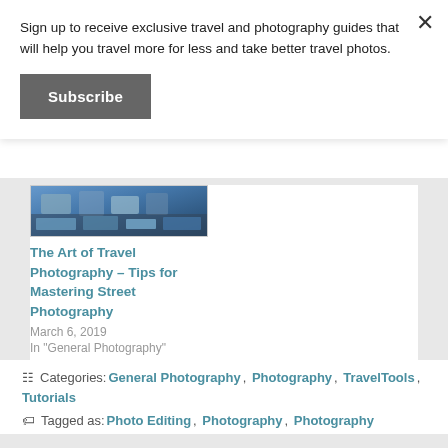Sign up to receive exclusive travel and photography guides that will help you travel more for less and take better travel photos.
Subscribe
[Figure (photo): Travel photography image showing outdoor scene with blue tones]
The Art of Travel Photography – Tips for Mastering Street Photography
March 6, 2019
In "General Photography"
Categories: General Photography, Photography, Travel Tools, Tutorials
Tagged as: Photo Editing, Photography, Photography Editing, Picture Editing, Travel, Travel Photography